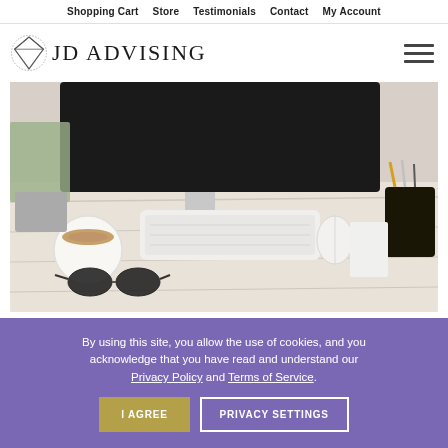Shopping Cart  Store  Testimonials  Contact  My Account
[Figure (logo): JD Advising logo with a book/diamond icon and the text JD ADVISING in serif font]
[Figure (photo): Overhead view of a desk with an iMac computer, Apple keyboard, mouse, coffee cup, glasses, plant, and stationery items on a marble/wood surface]
By using this site, you allow the use of cookies, and you acknowledge that you have read and understand our Privacy Policy and Terms of Service.